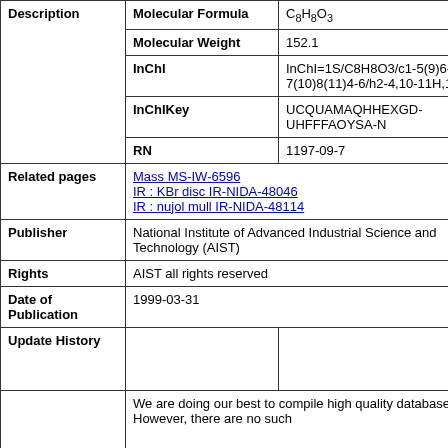|  | Field | Value |
| --- | --- | --- |
| Description | Molecular Formula | C8H8O3 |
| Description | Molecular Weight | 152.1 |
| Description | InChI | InChI=1S/C8H8O3/c1-5(9)6-2-3-7(10)8(11)4-6/h2-4,10-11H,1H3 |
| Description | InChIKey | UCQUAMAQHHEXGD-UHFFFAOYSA-N |
| Description | RN | 1197-09-7 |
| Related pages | Mass MS-IW-6596
IR : KBr disc IR-NIDA-48046
IR : nujol mull IR-NIDA-48114 |  |
| Publisher | National Institute of Advanced Industrial Science and Technology (AIST) |  |
| Rights | AIST all rights reserved |  |
| Date of Publication | 1999-03-31 |  |
| Update History |  |  |
|  | We are doing our best to compile high quality databases. However, there are no such |  |